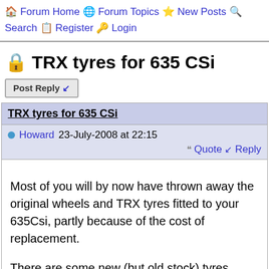🏠 Forum Home 🌐 Forum Topics ⭐ New Posts 🔍 Search 📋 Register 🔑 Login
🔒 TRX tyres for 635 CSi
Post Reply
TRX tyres for 635 CSi
Howard 23-July-2008 at 22:15
Quote Reply
Most of you will by now have thrown away the original wheels and TRX tyres fitted to your 635Csi, partly because of the cost of replacement.

There are some new (but old stock) tyres around which are 415 by 230, and which will fit the riginal TRX wheels on the highline 635 (probably also the